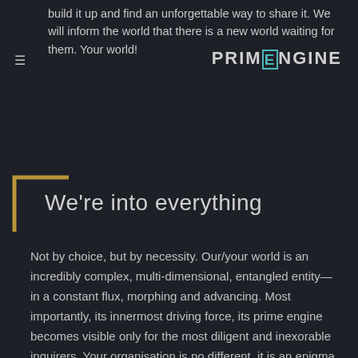build it up and find an unforgettable way to share it. We will inform the world that there is a new world waiting for them. Your world!
PRIMENGINE
We're into everything
Not by choice, but by necessity. Our/your world is an incredibly complex, multi-dimensional, entangled entity—in a constant flux, morphing and advancing. Most importantly, its innermost driving force, its prime engine becomes visible only for the most diligent and inexorable inquirers. Your organisation is no different, it is an enigma. That's why we study every part of you and the universe around you. Everything. If we connect the dots incorrectly, your